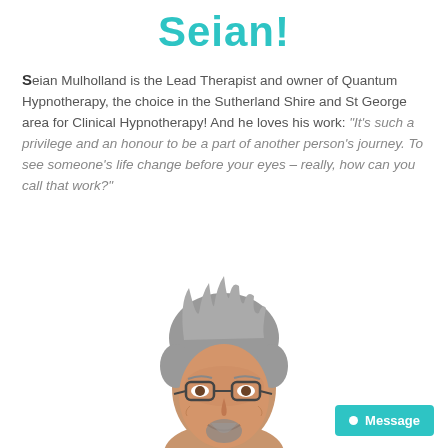Seian!
Seian Mulholland is the Lead Therapist and owner of Quantum Hypnotherapy, the choice in the Sutherland Shire and St George area for Clinical Hypnotherapy! And he loves his work: “It’s such a privilege and an honour to be a part of another person’s journey. To see someone’s life change before your eyes – really, how can you call that work?”
[Figure (photo): Portrait photo of Seian Mulholland, a middle-aged man with grey spiky hair, glasses, and a beard, smiling against a white background.]
Message